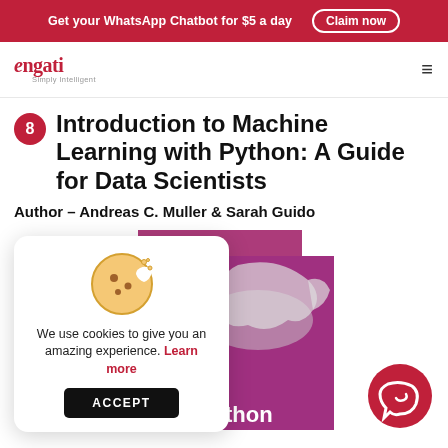Get your WhatsApp Chatbot for $5 a day  Claim now
[Figure (logo): Engati - Simply Intelligent logo with red stylized 'e' icon]
8  Introduction to Machine Learning with Python: A Guide for Data Scientists
Author – Andreas C. Muller & Sarah Guido
[Figure (photo): O'Reilly book cover for Introduction to Machine Learning with Python, purple background with salamander illustration]
We use cookies to give you an amazing experience. Learn more
[Figure (illustration): Cookie consent popup with cookie emoji icon and ACCEPT button]